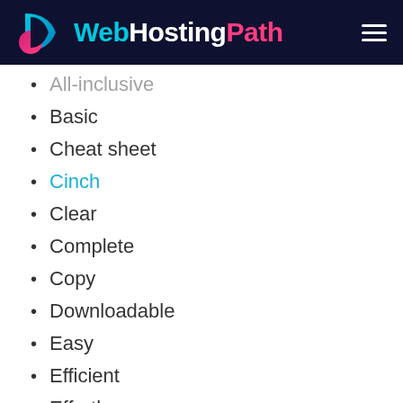WebHostingPath
All-inclusive
Basic
Cheat sheet
Cinch
Clear
Complete
Copy
Downloadable
Easy
Efficient
Effortless
Fail-proof
Fill in the blanks
Formula